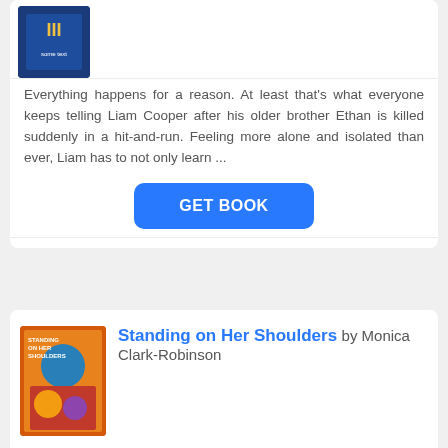Everything happens for a reason. At least that's what everyone keeps telling Liam Cooper after his older brother Ethan is killed suddenly in a hit-and-run. Feeling more alone and isolated than ever, Liam has to not only learn ...
[Figure (illustration): Blue book cover thumbnail at top left]
GET BOOK
[Figure (illustration): Book cover for 'Standing on Her Shoulders' by Monica Clark-Robinson showing colorful illustration]
Standing on Her Shoulders by Monica Clark-Robinson